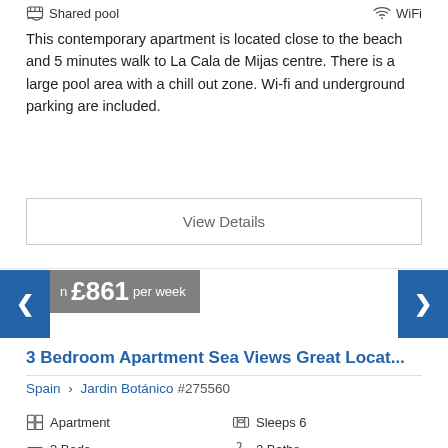Shared pool
WiFi
This contemporary apartment is located close to the beach and 5 minutes walk to La Cala de Mijas centre. There is a large pool area with a chill out zone. Wi-fi and underground parking are included.
View Details
n £861 per week
3 Bedroom Apartment Sea Views Great Locat...
Spain › Jardin Botánico #275560
Apartment
Sleeps 6
3 Beds
2 Baths
Shared pool
WiFi